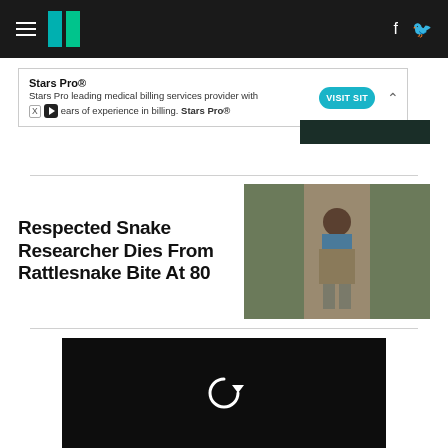HuffPost navigation with hamburger menu, logo, Facebook and Twitter icons
[Figure (other): Advertisement banner: Stars Pro® medical billing services with VISIT SITE button]
[Figure (photo): Person standing outdoors in forest path wearing hat and vest]
Respected Snake Researcher Dies From Rattlesnake Bite At 80
[Figure (other): Black video player with replay icon]